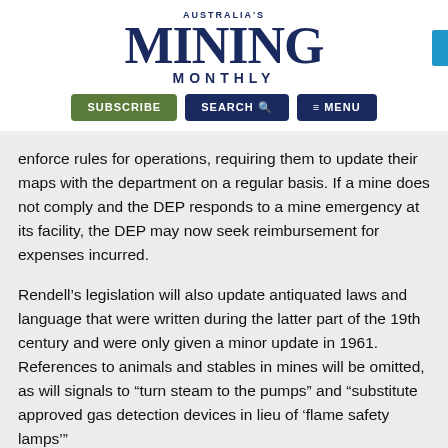AUSTRALIA'S MINING MONTHLY
enforce rules for operations, requiring them to update their maps with the department on a regular basis. If a mine does not comply and the DEP responds to a mine emergency at its facility, the DEP may now seek reimbursement for expenses incurred.
Rendell's legislation will also update antiquated laws and language that were written during the latter part of the 19th century and were only given a minor update in 1961. References to animals and stables in mines will be omitted, as will signals to “turn steam to the pumps” and “substitute approved gas detection devices in lieu of ‘flame safety lamps’”
The governor asked senator Richard Kasunic and